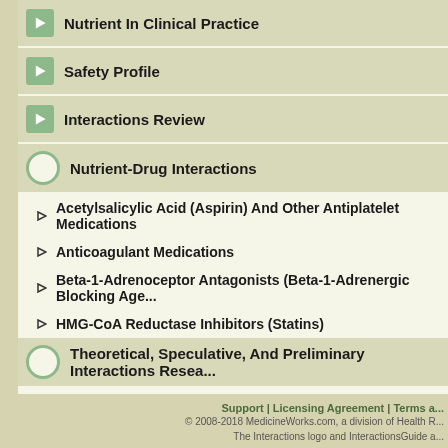Nutrient In Clinical Practice
Safety Profile
Interactions Review
Nutrient-Drug Interactions
Acetylsalicylic Acid (Aspirin) And Other Antiplatelet Medications
Anticoagulant Medications
Beta-1-Adrenoceptor Antagonists (Beta-1-Adrenergic Blocking Age...
HMG-CoA Reductase Inhibitors (Statins)
Theoretical, Speculative, And Preliminary Interactions Resea...
Ezetimibe
Salicylates
Citations And Reference Literature
Support | Licensing Agreement | Terms a...
© 2008-2018 MedicineWorks.com, a division of Health R...
The Interactions logo and InteractionsGuide a...